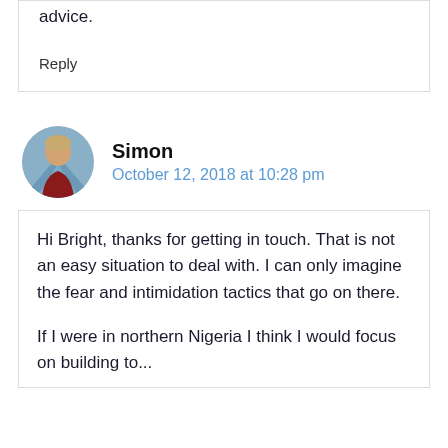advice.
Reply
Simon
October 12, 2018 at 10:28 pm
Hi Bright, thanks for getting in touch. That is not an easy situation to deal with. I can only imagine the fear and intimidation tactics that go on there.
If I were in northern Nigeria I think I would focus on building to...